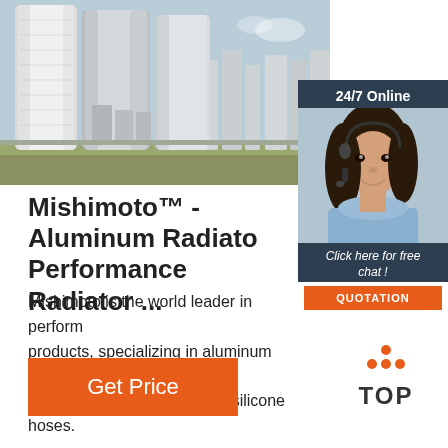[Figure (photo): Industrial silos or storage tanks in an outdoor setting, grey/white cylindrical structures against a light sky]
[Figure (infographic): 24/7 Online chat widget with a female customer service agent wearing a headset, dark blue background, with 'Click here for free chat!' text and orange QUOTATION button]
Mishimoto™ - Aluminum Radiato Performance Radiator ...
Mishimoto is the world leader in perform products, specializing in aluminum radia intercoolers, oil coolers, and silicone hoses.
[Figure (logo): TOP badge logo with orange dots arranged in a triangle above the word TOP]
Get Price